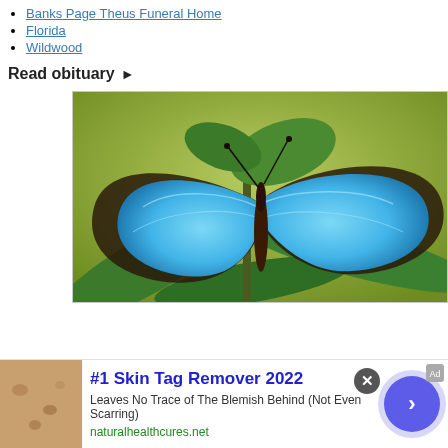Banks Page Theus Funeral Home
Florida
Wildwood
Read obituary ▶
[Figure (photo): A blue morpho butterfly with vibrant blue wings perched on green leaves against a green background.]
#1 Skin Tag Remover 2022 — Leaves No Trace of The Blemish Behind (Not Even Scarring) — naturalhealthcures.net